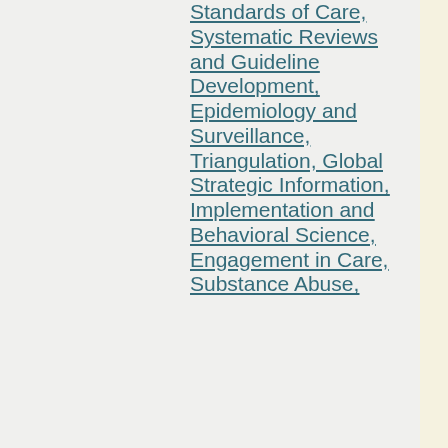Standards of Care, Systematic Reviews and Guideline Development, Epidemiology and Surveillance, Triangulation, Global Strategic Information, Implementation and Behavioral Science, Engagement in Care, Substance Abuse,